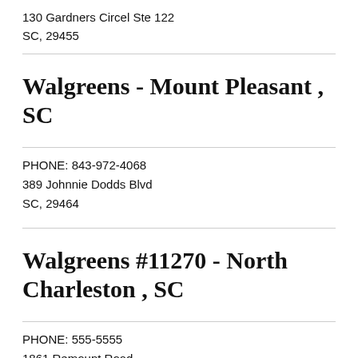130 Gardners Circel Ste 122
SC, 29455
Walgreens - Mount Pleasant , SC
PHONE: 843-972-4068
389 Johnnie Dodds Blvd
SC, 29464
Walgreens #11270 - North Charleston , SC
PHONE: 555-5555
1861 Remount Road
SC, 29406
Walgreens #1 - North...